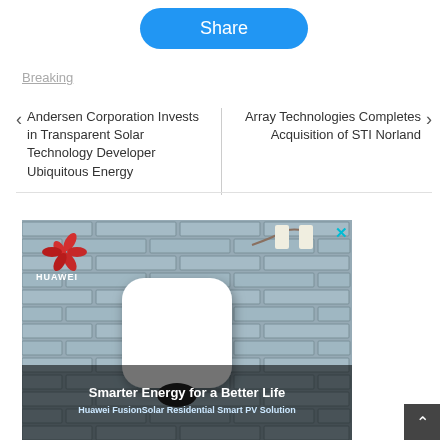[Figure (other): Blue rounded Share button]
Breaking
< Andersen Corporation Invests in Transparent Solar Technology Developer Ubiquitous Energy
Array Technologies Completes Acquisition of STI Norland >
[Figure (photo): Huawei FusionSolar advertisement showing a white solar inverter mounted on a brick wall with decorative wall lights. Text reads: Smarter Energy for a Better Life / Huawei FusionSolar Residential Smart PV Solution]